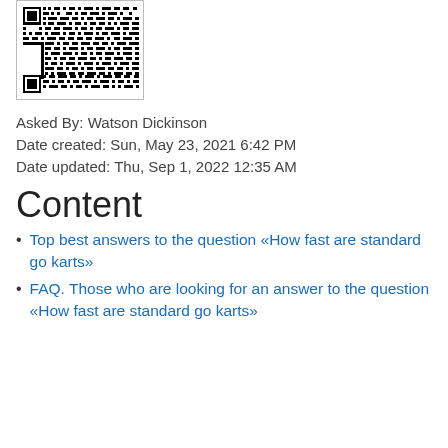[Figure (other): QR code image in a bordered box]
Asked By: Watson Dickinson
Date created: Sun, May 23, 2021 6:42 PM
Date updated: Thu, Sep 1, 2022 12:35 AM
Content
Top best answers to the question «How fast are standard go karts»
FAQ. Those who are looking for an answer to the question «How fast are standard go karts» often ask the following questions